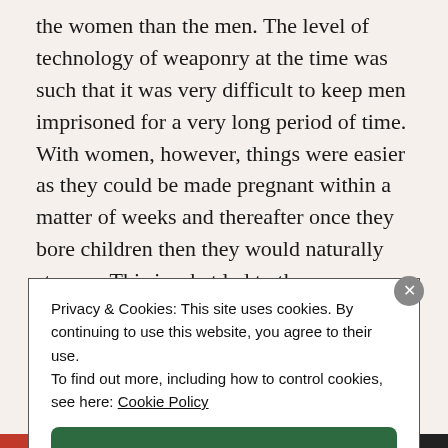the women than the men. The level of technology of weaponry at the time was such that it was very difficult to keep men imprisoned for a very long period of time. With women, however, things were easier as they could be made pregnant within a matter of weeks and thereafter once they bore children then they would naturally stay on. This is what led to the subordination of women even before the emergence of private property. The
Privacy & Cookies: This site uses cookies. By continuing to use this website, you agree to their use. To find out more, including how to control cookies, see here: Cookie Policy
Close and accept